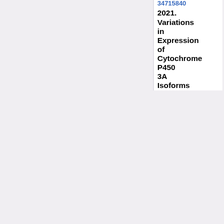34715840 2021. Variations in Expression of Cytochrome P450 3A Isoforms and Toxicological Effects: